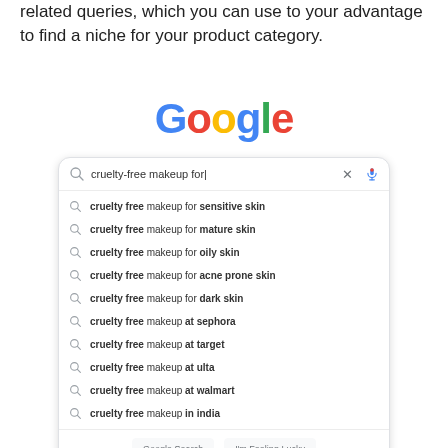related queries, which you can use to your advantage to find a niche for your product category.
[Figure (screenshot): Google search autocomplete screenshot showing search query 'cruelty-free makeup for' with autocomplete suggestions including: cruelty free makeup for sensitive skin, cruelty free makeup for mature skin, cruelty free makeup for oily skin, cruelty free makeup for acne prone skin, cruelty free makeup for dark skin, cruelty free makeup at sephora, cruelty free makeup at target, cruelty free makeup at ulta, cruelty free makeup at walmart, cruelty free makeup in india. Bottom shows Google Search and I'm Feeling Lucky buttons, and a Report inappropriate predictions link.]